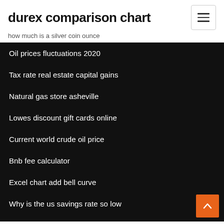durex comparison chart
how much is a silver coin ounce
Oil prices fluctuations 2020
Tax rate real estate capital gains
Natural gas store asheville
Lowes discount gift cards online
Current world crude oil price
Bnb fee calculator
Excel chart add bell curve
Why is the us savings rate so low
Buy crude oil tanker
Convert dollars to gbp calculator